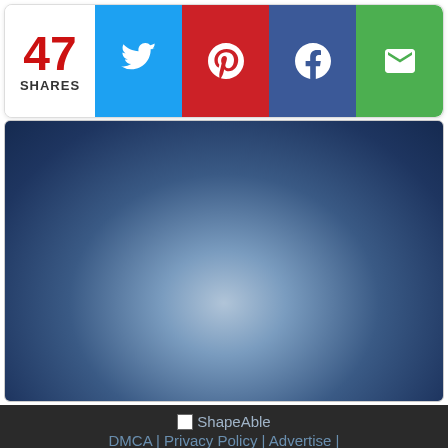[Figure (infographic): Social share bar showing 47 shares with Twitter, Pinterest, Facebook, and Email share buttons]
[Figure (photo): Blue gradient background image with radial light glow at center]
[Figure (logo): ShapeAble logo with broken image icon]
DMCA | Privacy Policy | Advertise | Contact
The content on this website is meant as reference material only and not as